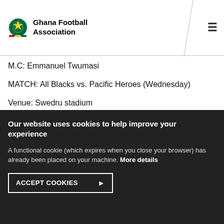Ghana Football Association
M.C: Emmanuel Twumasi
MATCH: All Blacks vs. Pacific Heroes (Wednesday)
Venue: Swedru stadium
REFEREE: Ferdinard Nyanyi
Our website uses cookies to help improve your experience
A functional cookie (which expires when you close your browser) has already been placed on your machine. More details
ACCEPT COOKIES